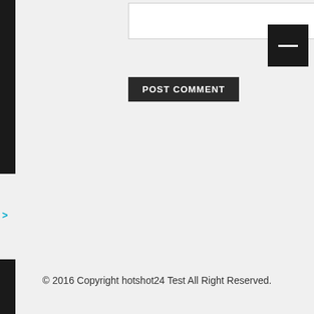[Figure (other): Text input box (comment field)]
POST COMMENT
>
© 2016 Copyright hotshot24 Test All Right Reserved.